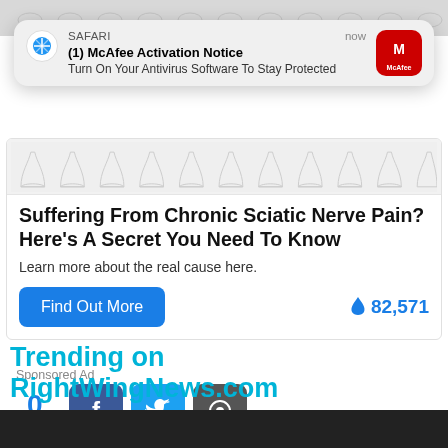[Figure (screenshot): Top strip showing partial foot/leg illustrations on gray background]
[Figure (screenshot): Safari browser notification popup: '(1) McAfee Activation Notice — Turn On Your Antivirus Software To Stay Protected' with McAfee red icon, timestamp 'now']
[Figure (screenshot): Ad card showing foot/leg illustrations strip, headline text, subtext, blue Find Out More button, and fire icon with count 82,571]
Sponsored Ad
[Figure (screenshot): Social share row: count 0 SHARE, Facebook button, Twitter button, Message button]
Trending on RightWingNews.com
[Figure (photo): Dark image strip at bottom of page]